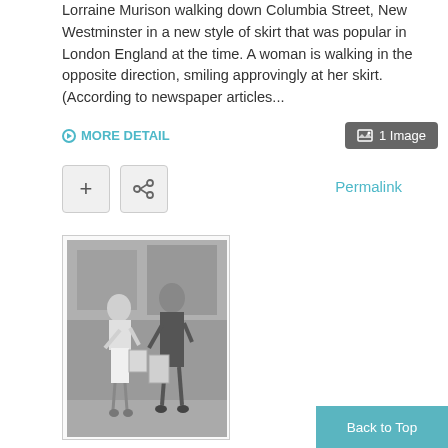Lorraine Murison walking down Columbia Street, New Westminster in a new style of skirt that was popular in London England at the time. A woman is walking in the opposite direction, smiling approvingly at her skirt. (According to newspaper articles...
MORE DETAIL
1 Image
+
Permalink
[Figure (photo): Black and white photograph of two women walking on a street. One woman is wearing a short skirt (miniskirt style) and the other woman walking toward her is smiling approvingly. They are on Columbia Street, New Westminster.]
Back to Top